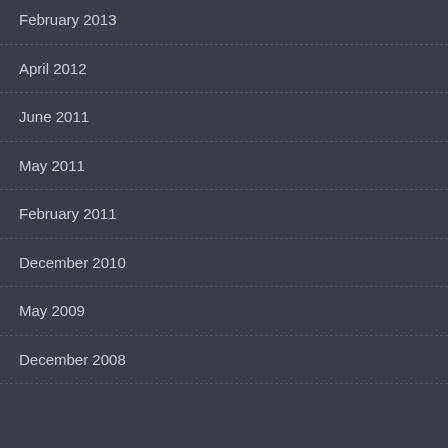February 2013
April 2012
June 2011
May 2011
February 2011
December 2010
May 2009
December 2008